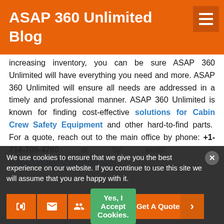ASAP 360 Unlimited Blog
increasing inventory, you can be sure ASAP 360 Unlimited will have everything you need and more. ASAP 360 Unlimited will ensure all needs are addressed in a timely and professional manner. ASAP 360 Unlimited is known for finding cost-effective solutions for Cabin Crew Safety Equipment and other hard-to-find parts. For a quote, reach out to the main office by phone: +1-714-705-4780 or by email:
sales@asap360unlimited.com
We use cookies to ensure that we give you the best experience on our website. If you continue to use this site we will assume that you are happy with it.